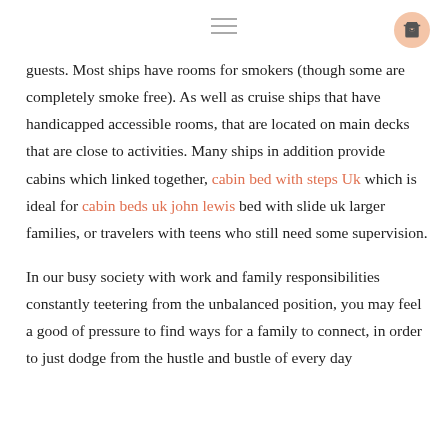≡ [hamburger menu] [cart icon]
guests. Most ships have rooms for smokers (though some are completely smoke free). As well as cruise ships that have handicapped accessible rooms, that are located on main decks that are close to activities. Many ships in addition provide cabins which linked together, cabin bed with steps Uk which is ideal for cabin beds uk john lewis bed with slide uk larger families, or travelers with teens who still need some supervision.
In our busy society with work and family responsibilities constantly teetering from the unbalanced position, you may feel a good of pressure to find ways for a family to connect, in order to just dodge from the hustle and bustle of every day